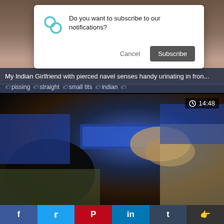[Figure (screenshot): Video thumbnail showing blurred/dark background scene]
Do you want to subscribe to our notifications?
Cancel | Subscribe
My Indian Girlfriend with pierced navel senses handy urinating in fron...
#pissing #straight #small tits #indian
[Figure (screenshot): Video thumbnail showing two people, duration 14:48]
14:48
f  t  p  in  t  (share icon)